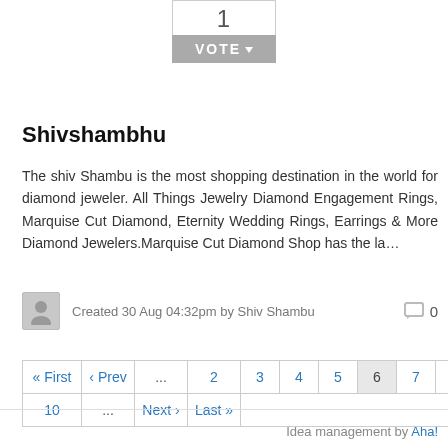[Figure (other): Vote widget showing number 1 with a grey VOTE button]
Shivshambhu
The shiv Shambu is the most shopping destination in the world for diamond jeweler. All Things Jewelry Diamond Engagement Rings, Marquise Cut Diamond, Eternity Wedding Rings, Earrings & More Diamond Jewelers.Marquise Cut Diamond Shop has the la…
Created 30 Aug 04:32pm by Shiv Shambu   0
« First ‹ Prev ... 2 3 4 5 6 7 8 9 10 ... Next › Last »
Idea management by Aha!